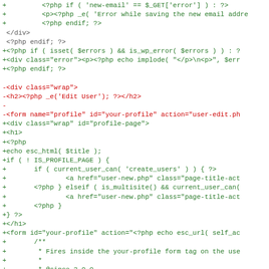[Figure (screenshot): Code diff showing PHP/HTML code changes with green lines (additions) and red lines (deletions) in a monospaced font on white background.]